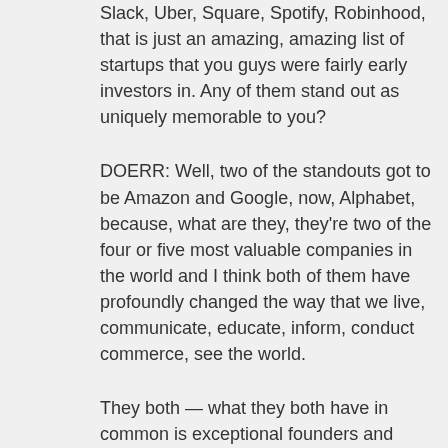Slack, Uber, Square, Spotify, Robinhood, that is just an amazing, amazing list of startups that you guys were fairly early investors in. Any of them stand out as uniquely memorable to you?
DOERR: Well, two of the standouts got to be Amazon and Google, now, Alphabet, because, what are they, they're two of the four or five most valuable companies in the world and I think both of them have profoundly changed the way that we live, communicate, educate, inform, conduct commerce, see the world.
They both — what they both have in common is exceptional founders and really strong management teams who have a sense of urgency and a focus on either large new markets or